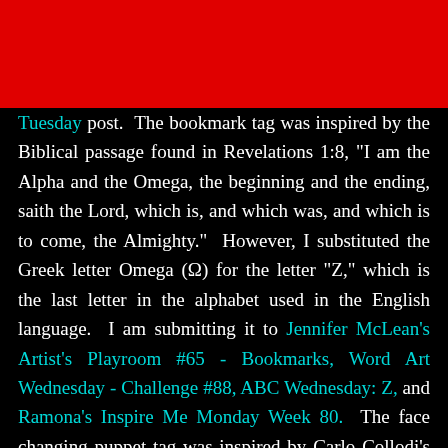[Figure (other): Red banner/header bar at the top of the page]
Tuesday post.  The bookmark tag was inspired by the Biblical passage found in Revelations 1:8, "I am the Alpha and the Omega, the beginning and the ending, saith the Lord, which is, and which was, and which is to come, the Almighty."  However, I substituted the Greek letter Omega (Ω) for the letter "Z," which is the last letter in the alphabet used in the English language.  I am submitting it to Jennifer McLean's Artist's Playroom #65 - Bookmarks, Word Art Wednesday - Challenge #88, ABC Wednesday: Z, and Ramona's Inspire Me Monday Week 80.  The face changing puppet tag was inspired by Carlo Collodi's Pinocchio, the